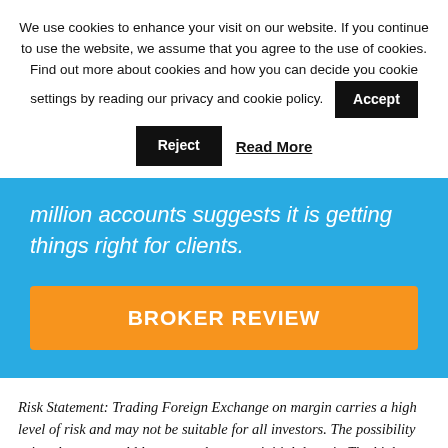We use cookies to enhance your visit on our website. If you continue to use the website, we assume that you agree to the use of cookies. Find out more about cookies and how you can decide you cookie settings by reading our privacy and cookie policy.
Accept
Reject
Read More
million accounts suggests it is getting things right for clients.
BROKER REVIEW
Risk Statement: Trading Foreign Exchange on margin carries a high level of risk and may not be suitable for all investors. The possibility exists that you could lose more than your initial deposit. The high degree of